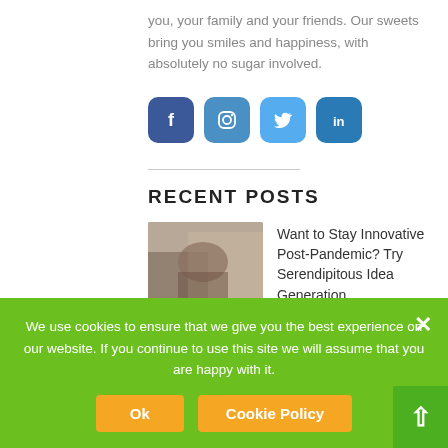you, your family and your friends. Our sweets bring you smiles and happiness, with absolutely no sugar involved.
[Figure (infographic): Row of four social media icons: Facebook (dark blue), Instagram (medium blue), Twitter (light blue), LinkedIn (dark teal blue), each in rounded square buttons]
RECENT POSTS
[Figure (photo): Photo thumbnail showing hands working on a project]
Want to Stay Innovative Post-Pandemic? Try Serendipitous Idea Generation.
[Figure (photo): Photo thumbnail showing a person's face]
7 Lasting Lessons I Learned
We use cookies to ensure that we give you the best experience on our website. If you continue to use this site we will assume that you are happy with it.